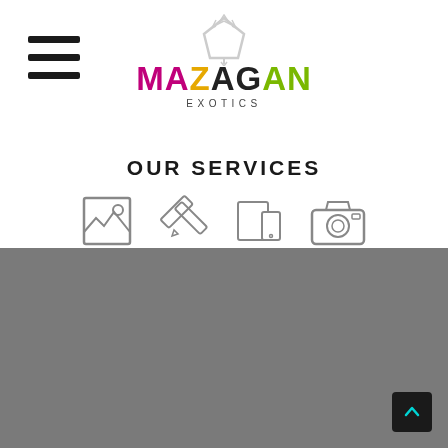[Figure (logo): Mazagan Exotics logo with crown icon above colorful text MAZAGAN and EXOTICS subtitle]
OUR SERVICES
[Figure (illustration): Four service icons in a row: image/gallery icon, pencil/tools icon, tablet/mobile devices icon, camera icon]
[Figure (other): Gray footer section with back-to-top button (dark square with up arrow chevron)]